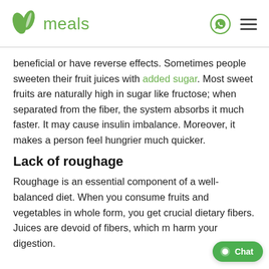meals
beneficial or have reverse effects. Sometimes people sweeten their fruit juices with added sugar. Most sweet fruits are naturally high in sugar like fructose; when separated from the fiber, the system absorbs it much faster. It may cause insulin imbalance. Moreover, it makes a person feel hungrier much quicker.
Lack of roughage
Roughage is an essential component of a well-balanced diet. When you consume fruits and vegetables in whole form, you get crucial dietary fibers. Juices are devoid of fibers, which m harm your digestion.